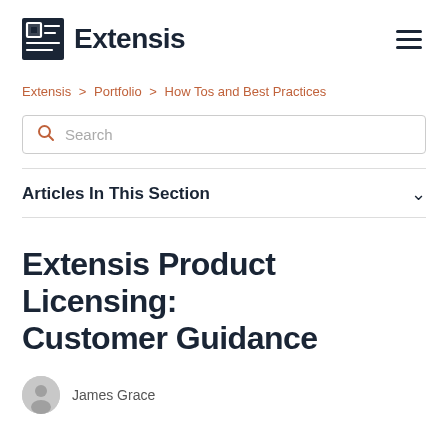Extensis
Extensis > Portfolio > How Tos and Best Practices
Search
Articles In This Section
Extensis Product Licensing: Customer Guidance
James Grace